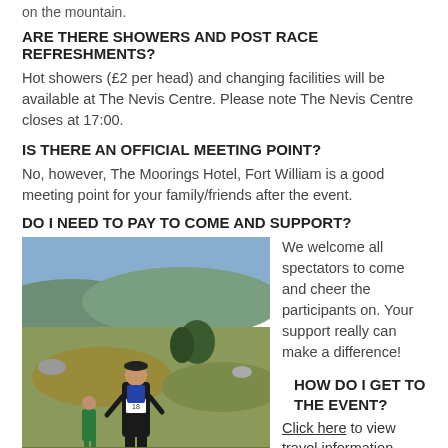on the mountain.
ARE THERE SHOWERS AND POST RACE REFRESHMENTS?
Hot showers (£2 per head) and changing facilities will be available at The Nevis Centre. Please note The Nevis Centre closes at 17:00.
IS THERE AN OFFICIAL MEETING POINT?
No, however, The Moorings Hotel, Fort William is a good meeting point for your family/friends after the event.
DO I NEED TO PAY TO COME AND SUPPORT?
[Figure (photo): Two trail runners running through a scenic highland landscape with rocky terrain and sparse vegetation; the foreground runner is a man in a black outfit with a race bib number 18.]
We welcome all spectators to come and cheer the participants on. Your support really can make a difference!
HOW DO I GET TO THE EVENT?
Click here to view travel information.
TERMS & CONDITIONS